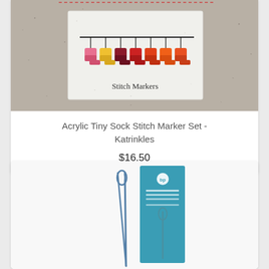[Figure (photo): Photo of Acrylic Tiny Sock Stitch Marker Set in packaging - colorful mini sock-shaped markers in pink, yellow, dark red, red, orange hanging on a wire inside a white speckled card. Text 'Stitch Markers' printed on the packaging.]
Acrylic Tiny Sock Stitch Marker Set - Katrinkles
$16.50
[Figure (photo): Photo of a knitting needle or large eye blunt needle in packaging with a teal/blue header card, partially visible. The needle appears long and slender with a large eye, shown on white background.]